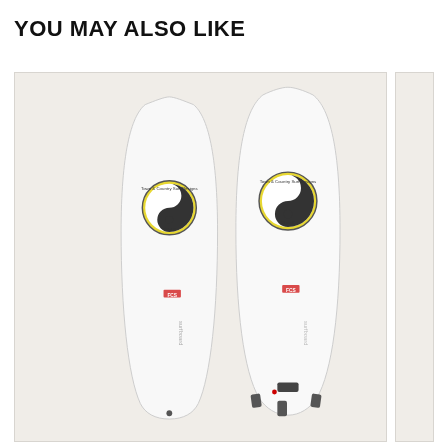YOU MAY ALSO LIKE
[Figure (photo): Two white surfboards side by side with yin-yang logo (Town & Country Surf Designs Hawaii) in yellow circle. Left board shown from back, right board shown from front with fins visible at bottom. Partial third item visible on right edge.]